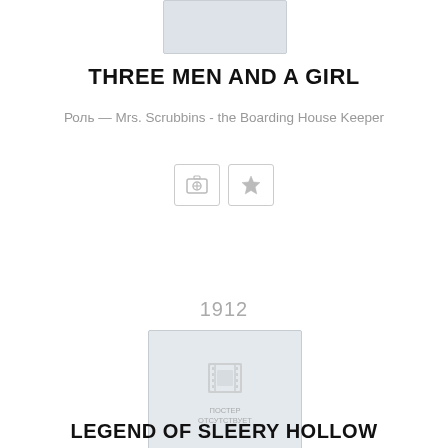[Figure (photo): Top cropped movie poster placeholder (partially visible at top of page)]
THREE MEN AND A GIRL
Роль — Mrs. Scrubbins - the Boarding House Keeper
[Figure (other): Two UI buttons: a camera/add photo button and a star/favorite button]
1912
[Figure (photo): Movie poster placeholder with film strip icon and Russian text 'ПОСТЕР ОТСУТСТВУЕТ' (poster not available)]
LEGEND OF SLEERY HOLLOW